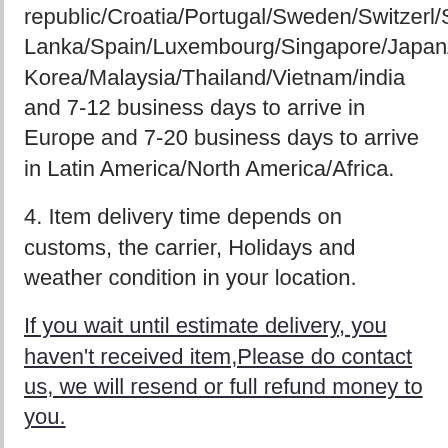republic/Croatia/Portugal/Sweden/Switzerl/Slovakia/Qatar/Malta/Sri Lanka/Spain/Luxembourg/Singapore/Japan/South Korea/Malaysia/Thailand/Vietnam/india and 7-12 business days to arrive in Europe and 7-20 business days to arrive in Latin America/North America/Africa.
4. Item delivery time depends on customs, the carrier, Holidays and weather condition in your location.
If you wait until estimate delivery, you haven't received item,Please do contact us, we will resend or full refund money to you.
5. You will be notified once the shipment has been made.